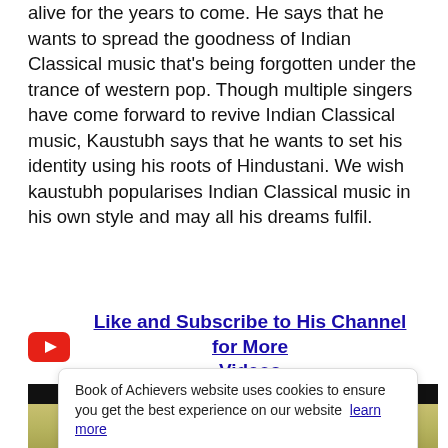alive for the years to come. He says that he wants to spread the goodness of Indian Classical music that's being forgotten under the trance of western pop. Though multiple singers have come forward to revive Indian Classical music, Kaustubh says that he wants to set his identity using his roots of Hindustani. We wish kaustubh popularises Indian Classical music in his own style and may all his dreams fulfil.
Like and Subscribe to His Channel for More Videos
Book of Achievers website uses cookies to ensure you get the best experience on our website  learn more